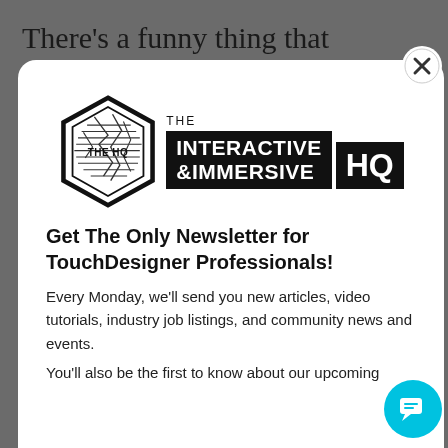There’s a funny thing that happens to intermediates and pros once you’ve been using TouchDesigner for a few years: you stop reading
[Figure (logo): The Interactive & Immersive HQ logo with hexagon badge on the left and bold text on the right]
Get The Only Newsletter for TouchDesigner Professionals!
Every Monday, we’ll send you new articles, video tutorials, industry job listings, and community news and events.
You’ll also be the first to know about our upcoming